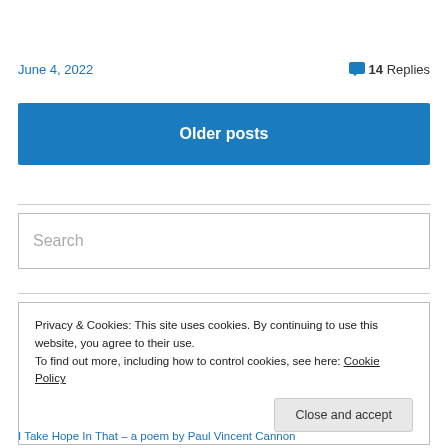June 4, 2022
14 Replies
Older posts
Search
Privacy & Cookies: This site uses cookies. By continuing to use this website, you agree to their use.
To find out more, including how to control cookies, see here: Cookie Policy
Close and accept
I Take Hope In That – a poem by Paul Vincent Cannon